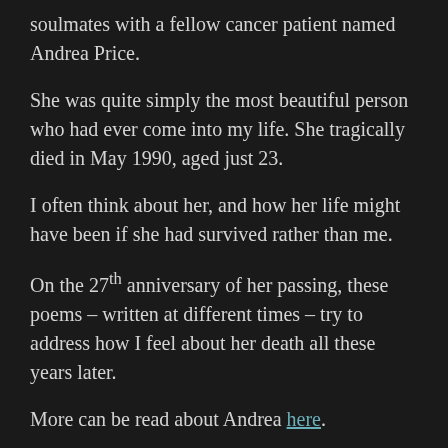soulmates with a fellow cancer patient named Andrea Price.
She was quite simply the most beautiful person who had ever come into my life. She tragically died in May 1990, aged just 23.
I often think about her, and how her life might have been if she had survived rather than me.
On the 27th anniversary of her passing, these poems – written at different times – try to address how I feel about her death all these years later.
More can be read about Andrea here.